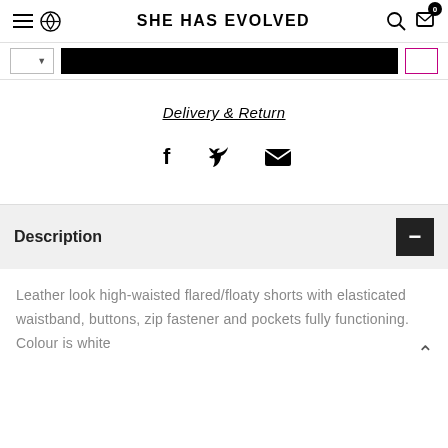SHE HAS EVOLVED
Delivery & Return
[Figure (infographic): Social share icons: Facebook (f), Twitter (bird), Email (envelope)]
Description
Leather look high-waisted flared/floaty shorts with elasticated waistband, buttons, zip fastener and pockets fully functioning. Colour is white